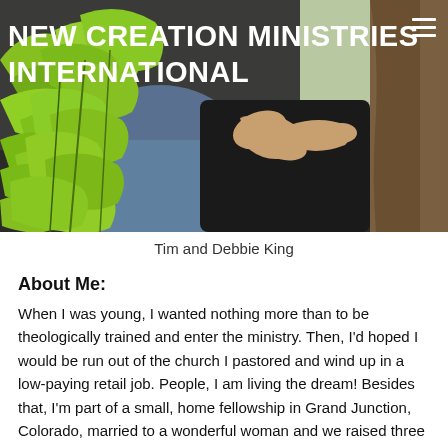[Figure (photo): Outdoor photo of Tim and Debbie King sitting together near green leafy branches and a tree trunk. One person wearing blue/grey denim, another in black. Lush green leaves in foreground. Organization name 'NEW CREATION MINISTRIES INTERNATIONAL' overlaid in white bold text top-left, hamburger menu icon top-right.]
Tim and Debbie King
About Me:
When I was young, I wanted nothing more than to be theologically trained and enter the ministry. Then, I'd hoped I would be run out of the church I pastored and wind up in a low-paying retail job. People, I am living the dream! Besides that, I'm part of a small, home fellowship in Grand Junction, Colorado, married to a wonderful woman and we raised three wonderful daughters. One is married to a great guy, one is in